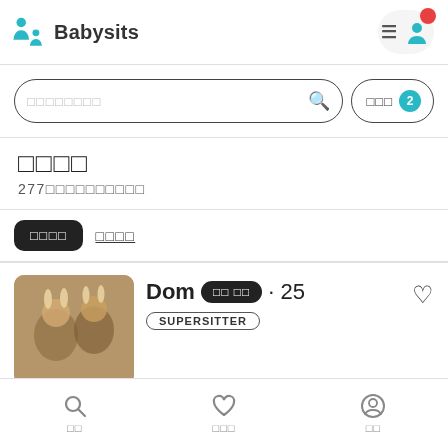[Figure (logo): Babysits app logo with teal icon of two figures and text 'Babysits']
□□□□□□□□
□□□ 2
□□□□
277□□□□□□□□□□
□□□□  □□□□
Dom□□ □□ · 25  SUPERSITTER
□□  □□□  □□